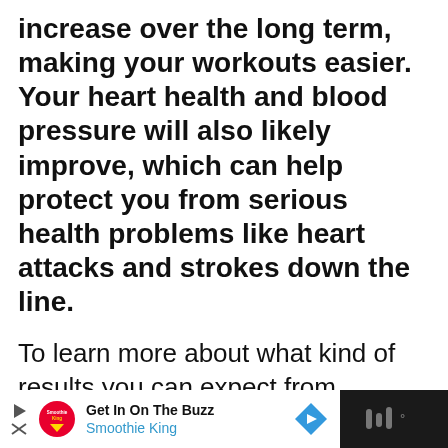increase over the long term, making your workouts easier. Your heart health and blood pressure will also likely improve, which can help protect you from serious health problems like heart attacks and strokes down the line.
To learn more about what kind of results you can expect from regularly working out on the treadmill, I spoke to several fitness experts. Keep reading to find out what they had to say.
[Figure (other): Advertisement banner: Smoothie King ad with play button, logo, 'Get In On The Buzz' headline, blue arrow icon, and dark right panel with audio icon]